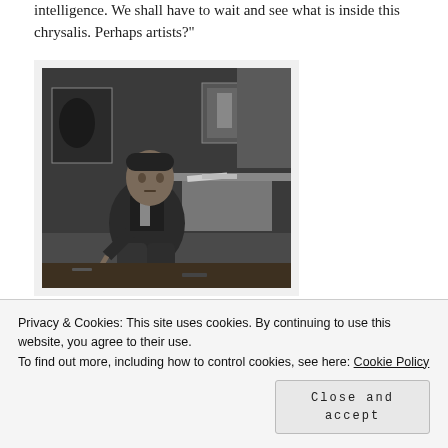intelligence. We shall have to wait and see what is inside this chrysalis. Perhaps artists?"
[Figure (photo): Black and white photograph of a man seated in an artist's studio, with paintings visible on the wall behind him and a desk with items to his right. He is dressed in casual period clothing and holds a cigarette.]
Privacy & Cookies: This site uses cookies. By continuing to use this website, you agree to their use.
To find out more, including how to control cookies, see here: Cookie Policy
Close and accept